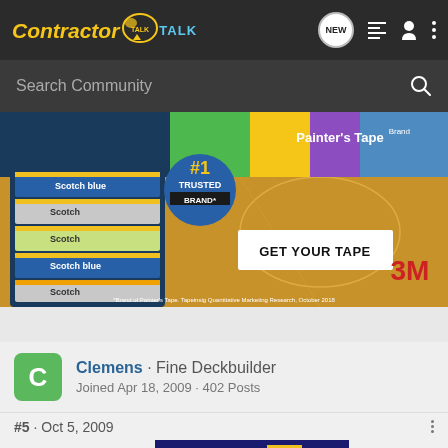ContractorTalk
[Figure (screenshot): Search bar with 'Search Community' placeholder text and magnifying glass icon]
[Figure (photo): 3M ScotchBlue Painter's Tape advertisement showing stacked tape rolls with '#1 TRUSTED BRAND' badge and 'GET YOUR TAPE' button on a gym floor background]
Clemens · Fine Deckbuilder
Joined Apr 18, 2009 · 402 Posts
#5 · Oct 5, 2009
[Figure (photo): 3M Scotch Brand Painter's Tape advertisement with 'GET YOUR TAPE' button]
Enduran... column (with a d... ...e on the